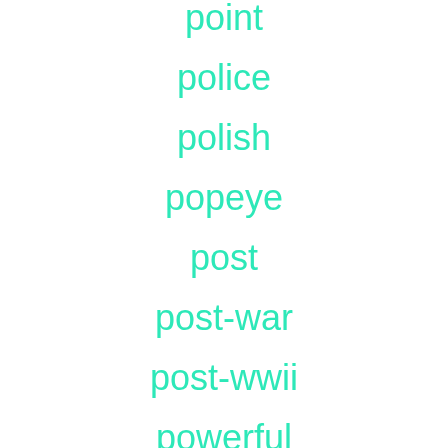point
police
polish
popeye
post
post-war
post-wwii
powerful
pre-made
pre-wwi
premium